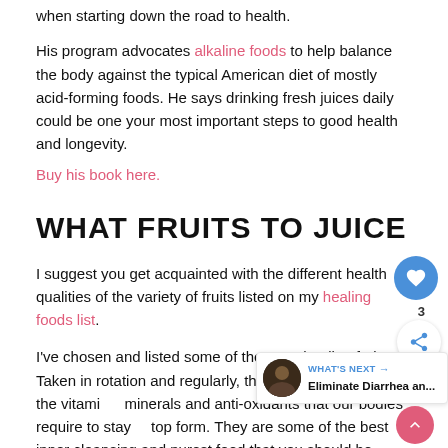when starting down the road to health.
His program advocates alkaline foods to help balance the body against the typical American diet of mostly acid-forming foods. He says drinking fresh juices daily could be one your most important steps to good health and longevity.
Buy his book here.
WHAT FRUITS TO JUICE
I suggest you get acquainted with the different health qualities of the variety of fruits listed on my healing foods list.
I've chosen and listed some of the most healing fruits. Taken in rotation and regularly, they provide almost all the vitamins, minerals and anti-oxidants that our bodies require to stay in top form. They are some of the best inner cleansing and purest food that you should be eating/drinking on a daily basis.
Bookmark this site and do come back frequently. This site is